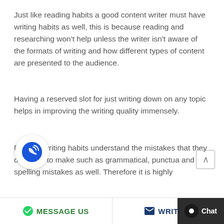Just like reading habits a good content writer must have writing habits as well, this is because reading and researching won't help unless the writer isn't aware of the formats of writing and how different types of content are presented to the audience.
Having a reserved slot for just writing down on any topic helps in improving the writing quality immensely.
Regular writing habits understand the mistakes that they ore likely to make such as grammatical, punctua and spelling mistakes as well. Therefore it is highly
MESSAGE US   WRITE U   Chat